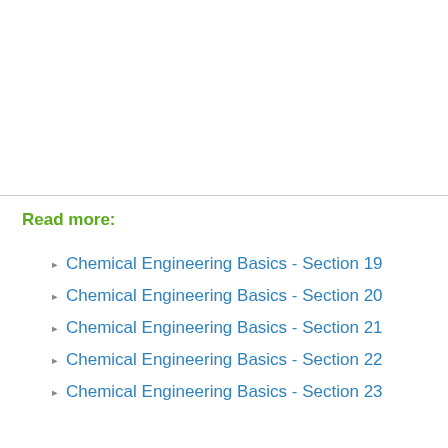Read more:
Chemical Engineering Basics - Section 19
Chemical Engineering Basics - Section 20
Chemical Engineering Basics - Section 21
Chemical Engineering Basics - Section 22
Chemical Engineering Basics - Section 23